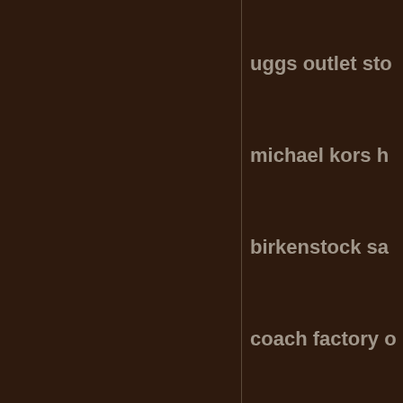uggs outlet sto
michael kors h
birkenstock sa
coach factory o